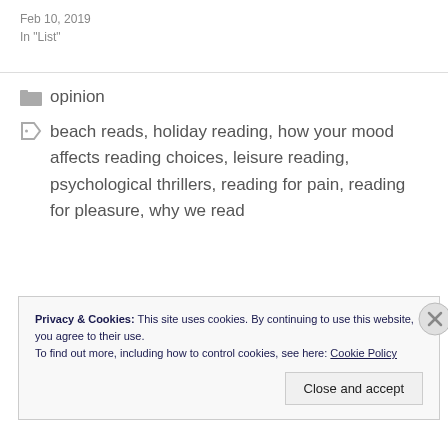Feb 10, 2019
In "List"
opinion
beach reads, holiday reading, how your mood affects reading choices, leisure reading, psychological thrillers, reading for pain, reading for pleasure, why we read
Privacy & Cookies: This site uses cookies. By continuing to use this website, you agree to their use.
To find out more, including how to control cookies, see here: Cookie Policy
Close and accept